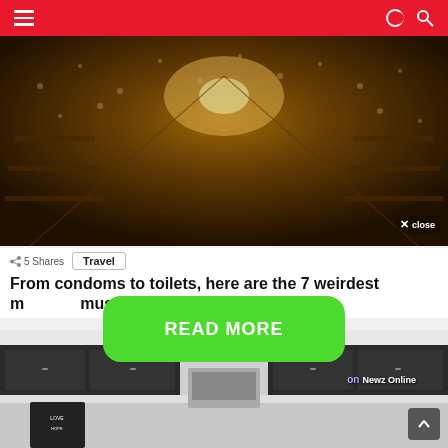≡ [hamburger menu] [crescent icon] [search icon]
[Figure (photo): Dark warm-toned interior photo of an underground cave or tunnel decorated with flowers/vines and warm golden lighting, appears to be a shop or cellar]
✕ close
< 5 Shares   Travel
From condoms to toilets, here are the 7 weirdest m... must visit
[Figure (photo): Photo of a modern kitchen with dark wood cabinets, stainless steel appliances, and pendant lights. A chalkboard sign reading 'Love' is visible on the counter.]
on Newz Online
READ MORE